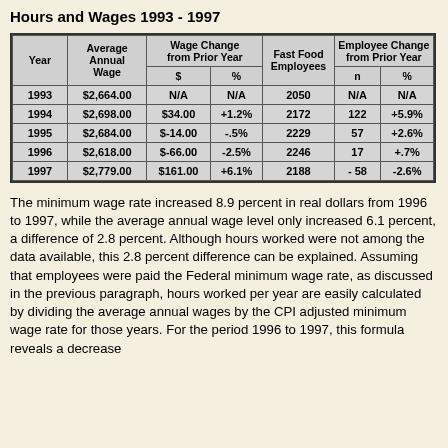Hours and Wages 1993 - 1997
| Year | Average Annual Wage | Wage Change from Prior Year ($) | Wage Change from Prior Year (%) | Fast Food Employees | Employee Change from Prior Year (n) | Employee Change from Prior Year (%) |
| --- | --- | --- | --- | --- | --- | --- |
| 1993 | $2,664.00 | N/A | N/A | 2050 | N/A | N/A |
| 1994 | $2,698.00 | $34.00 | +1.2% | 2172 | 122 | +5.9% |
| 1995 | $2,684.00 | $-14.00 | -.5% | 2229 | 57 | +2.6% |
| 1996 | $2,618.00 | $-66.00 | -2.5% | 2246 | 17 | +.7% |
| 1997 | $2,779.00 | $161.00 | +6.1% | 2188 | - 58 | -2.6% |
The minimum wage rate increased 8.9 percent in real dollars from 1996 to 1997, while the average annual wage level only increased 6.1 percent, a difference of 2.8 percent. Although hours worked were not among the data available, this 2.8 percent difference can be explained. Assuming that employees were paid the Federal minimum wage rate, as discussed in the previous paragraph, hours worked per year are easily calculated by dividing the average annual wages by the CPI adjusted minimum wage rate for those years. For the period 1996 to 1997, this formula reveals a decrease